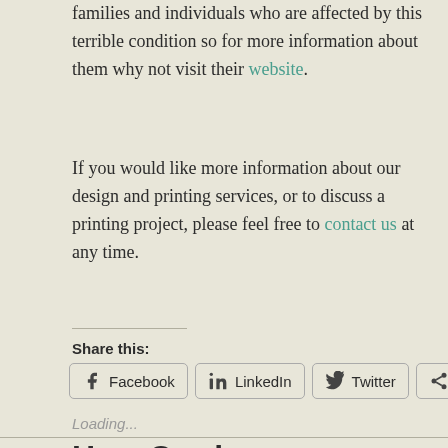families and individuals who are affected by this terrible condition so for more information about them why not visit their website.
If you would like more information about our design and printing services, or to discuss a printing project, please feel free to contact us at any time.
Share this:
Facebook  LinkedIn  Twitter  More
Loading...
How Our Impact Bl...